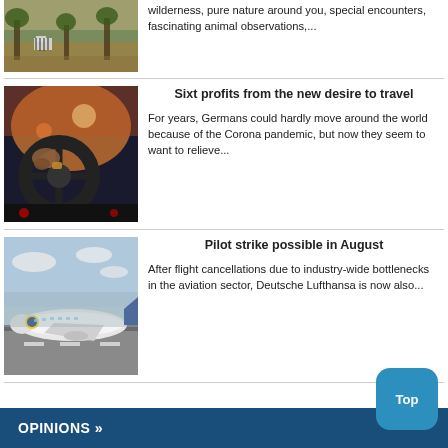[Figure (photo): Safari wildlife scene with zebras in grassland]
wilderness, pure nature around you, special encounters, fascinating animal observations,...
[Figure (photo): Person driving a car at sunset, hands on steering wheel]
Sixt profits from the new desire to travel
For years, Germans could hardly move around the world because of the Corona pandemic, but now they seem to want to relieve...
[Figure (photo): Lufthansa Boeing 747 aircraft on airport tarmac]
Pilot strike possible in August
After flight cancellations due to industry-wide bottlenecks in the aviation sector, Deutsche Lufthansa is now also...
OPINIONS »